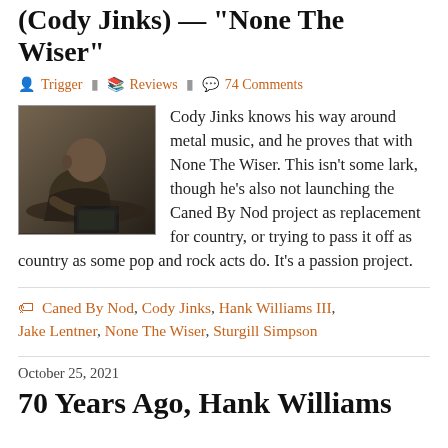(Cody Jinks) — “None The Wiser”
Trigger   Reviews   74 Comments
[Figure (photo): Photo of Cody Jinks sitting at a desk, writing or working, viewed from slight above angle. Dark tones.]
Cody Jinks knows his way around metal music, and he proves that with None The Wiser. This isn’t some lark, though he’s also not launching the Caned By Nod project as replacement for country, or trying to pass it off as country as some pop and rock acts do. It’s a passion project.
Caned By Nod, Cody Jinks, Hank Williams III, Jake Lentner, None The Wiser, Sturgill Simpson
October 25, 2021
70 Years Ago, Hank Williams